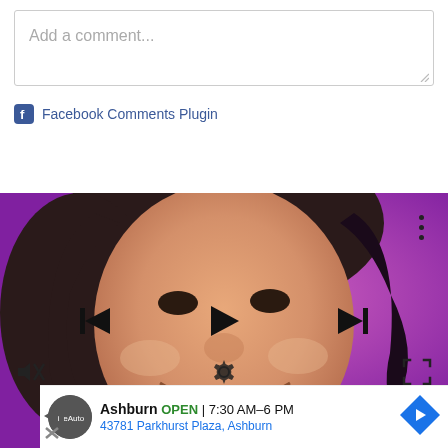Add a comment...
Facebook Comments Plugin
[Figure (screenshot): Video player showing a close-up of a smiling Asian woman's face against a magenta/pink background, with media playback controls (skip back, play, skip forward), a three-dot menu, mute icon, and fullscreen button overlay. An advertisement banner at the bottom shows 'Ashburn OPEN 7:30 AM–6 PM, 43781 Parkhurst Plaza, Ashburn' with a navigation arrow icon.]